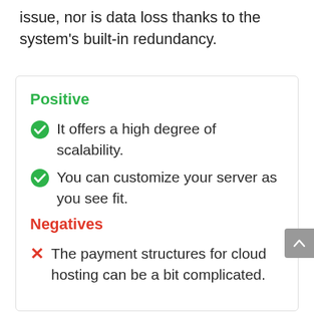issue, nor is data loss thanks to the system's built-in redundancy.
Positive
It offers a high degree of scalability.
You can customize your server as you see fit.
Negatives
The payment structures for cloud hosting can be a bit complicated.